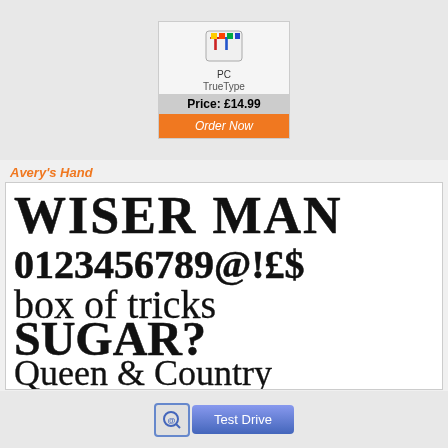[Figure (screenshot): Font product card showing PC TrueType icon, price £14.99, and Order Now button]
Avery's Hand
[Figure (illustration): Font preview showing: WISER MAN, 0123456789@!£$, box of tricks, SUGAR?, Queen & Country in handwritten style]
[Figure (screenshot): Test Drive button with magnifying glass icon]